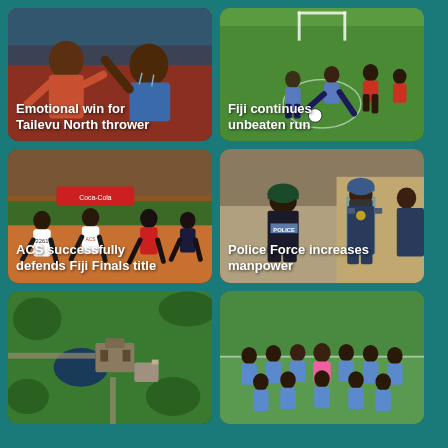[Figure (photo): Athletes at a throwing event, emotional celebration, Tailevu North thrower]
Emotional win for Tailevu North thrower
[Figure (photo): Football/soccer match with players in blue and red kits on a grass field]
Fiji continues unbeaten run
[Figure (photo): Track and field athletes running at ACS Fiji Finals event, crowd in background]
ACS successfully defends Fiji Finals title
[Figure (photo): Police officers standing, one facing away showing POLICE label on back]
Police Force increases manpower
[Figure (photo): Aerial view of a facility or complex surrounded by greenery]
[Figure (photo): Group of young men in blue football kits posing for a team photo]